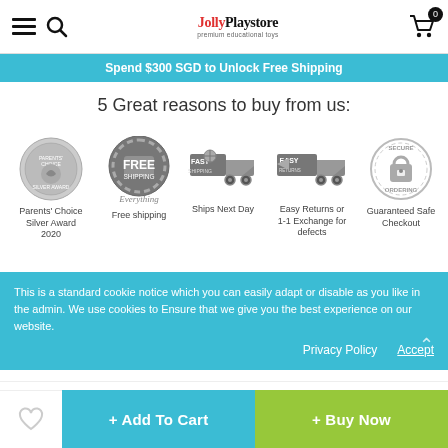JollyPlaystore header with hamburger menu, search, logo, and cart (0 items)
Spend $300 SGD to Unlock Free Shipping
5 Great reasons to buy from us:
[Figure (illustration): Parents' Choice Silver Award 2020 badge]
Parents' Choice Silver Award 2020
[Figure (illustration): Free Shipping circle badge - Everything]
Free shipping
[Figure (illustration): Fast Shipping delivery truck icon]
Ships Next Day
[Figure (illustration): Easy Returns delivery truck icon]
Easy Returns or 1-1 Exchange for defects
[Figure (illustration): Secure Ordering padlock badge]
Guaranteed Safe Checkout
This is a standard cookie notice which you can easily adapt or disable as you like in the admin. We use cookies to Ensure that we give you the best experience on our website.
Privacy Policy    Accept
Description
Hurry: Only 19 Left.
+ Add To Cart
+ Buy Now